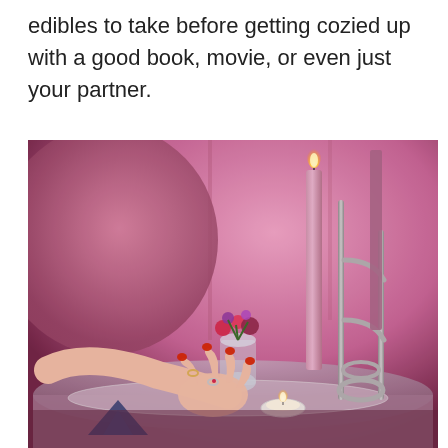edibles to take before getting cozied up with a good book, movie, or even just your partner.
[Figure (photo): A romantic, pink-lit scene showing a woman's hand with red nails and rings reaching toward a mirrored tray with candles, small flowers in a glass vase, and a decorative metal candle holder with tall lit pink candles. The background shows a pink wall and a large balloon or circular object.]